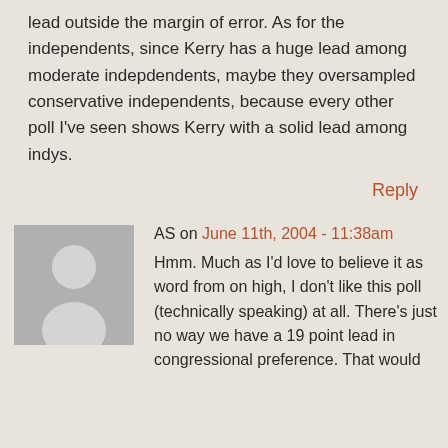lead outside the margin of error. As for the independents, since Kerry has a huge lead among moderate indepdendents, maybe they oversampled conservative independents, because every other poll I've seen shows Kerry with a solid lead among indys.
Reply
AS on June 11th, 2004 - 11:38am
Hmm. Much as I'd love to believe it as word from on high, I don't like this poll (technically speaking) at all. There's just no way we have a 19 point lead in congressional preference. That would